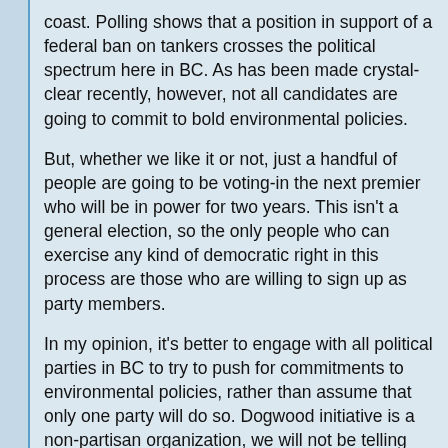coast. Polling shows that a position in support of a federal ban on tankers crosses the political spectrum here in BC. As has been made crystal-clear recently, however, not all candidates are going to commit to bold environmental policies.
But, whether we like it or not, just a handful of people are going to be voting-in the next premier who will be in power for two years. This isn't a general election, so the only people who can exercise any kind of democratic right in this process are those who are willing to sign up as party members.
In my opinion, it's better to engage with all political parties in BC to try to push for commitments to environmental policies, rather than assume that only one party will do so. Dogwood initiative is a non-partisan organization, we will not be telling anyone who to vote for. Spread in that this discussion will assume a